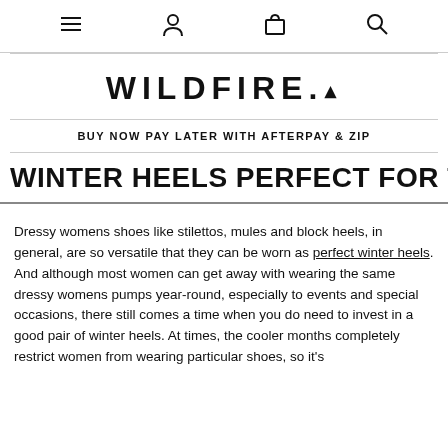Navigation bar with menu, account, bag, and search icons
[Figure (logo): WILDFIRE. brand logo in bold uppercase letters with a small triangle/caret after the period]
BUY NOW PAY LATER WITH AFTERPAY & ZIP
WINTER HEELS PERFECT FOR THE COOLER MONTHS!
Dressy womens shoes like stilettos, mules and block heels, in general, are so versatile that they can be worn as perfect winter heels. And although most women can get away with wearing the same dressy womens pumps year-round, especially to events and special occasions, there still comes a time when you do need to invest in a good pair of winter heels. At times, the cooler months completely restrict women from wearing particular shoes, so it's